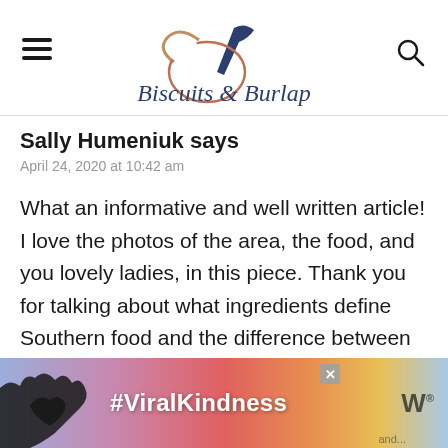Biscuits & Burlap
Sally Humeniuk says
April 24, 2020 at 10:42 am
What an informative and well written article! I love the photos of the area, the food, and you lovely ladies, in this piece. Thank you for talking about what ingredients define Southern food and the difference between Southern and Soul as well. I've always wondered
[Figure (other): Advertisement banner showing silhouette of hands forming a heart shape against a colorful sunset background with text #ViralKindness and a W logo]